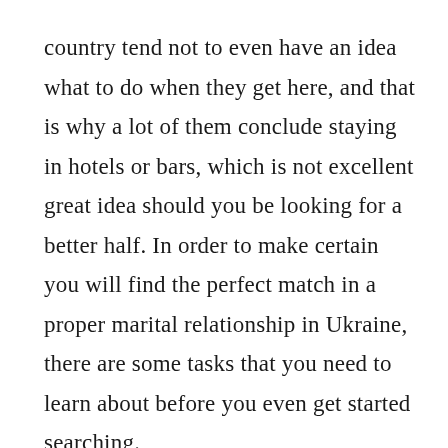country tend not to even have an idea what to do when they get here, and that is why a lot of them conclude staying in hotels or bars, which is not excellent great idea should you be looking for a better half. In order to make certain you will find the perfect match in a proper marital relationship in Ukraine, there are some tasks that you need to learn about before you even get started searching.

If you are a single gentleman who is hoping